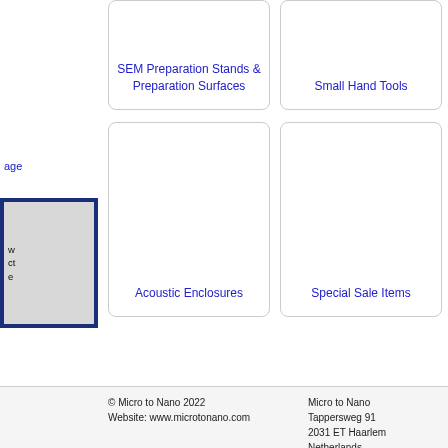age
w
ct
e
SEM Preparation Stands & Preparation Surfaces
Small Hand Tools
Acoustic Enclosures
Special Sale Items
© Micro to Nano 2022
Website: www.microtonano.com

Micro to Nano
Tappersweg 91
2031 ET Haarlem
Netherlands